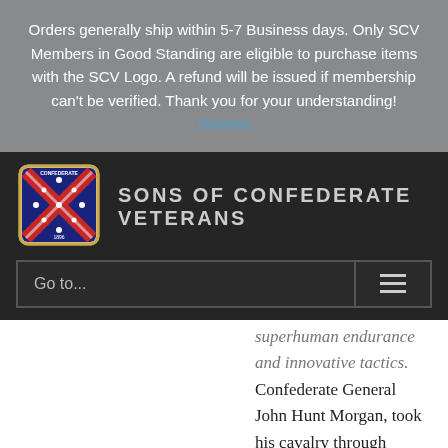Orders generally ship within 5-7 Business days. Only SCV Members in Good Standing are eligible to purchase items with the SCV Logo. A refund will be issued if membership can't be verified. Thank you for your understanding! Dismiss
[Figure (logo): Sons of Confederate Veterans logo - Confederate battle flag design in a shield shape]
SONS OF CONFEDERATE VETERANS
Go to...
superhuman endurance and innovative tactics. Confederate General John Hunt Morgan, took his cavalry through enemy-occupied territory in three states in one of the longest offensives of the Civil War. The effort produced the only battles fought north of the Ohio River and reached farther north than any other regular Confederate force.